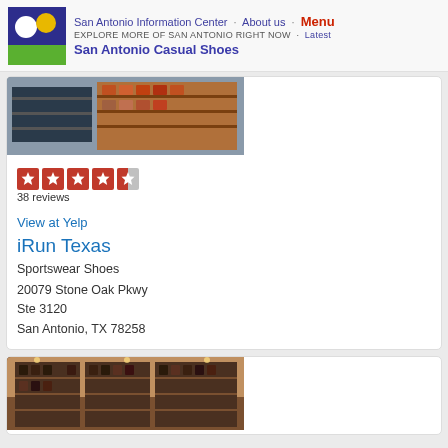San Antonio Information Center · About us · Menu
EXPLORE MORE OF SAN ANTONIO RIGHT NOW · Latest
San Antonio Casual Shoes
[Figure (photo): Store interior showing shelves with products]
[Figure (other): Yelp 4.5 star rating, 38 reviews]
38 reviews
View at Yelp
iRun Texas
Sportswear Shoes
20079 Stone Oak Pkwy
Ste 3120
San Antonio, TX 78258
[Figure (photo): Boot store interior showing shelves of boots]